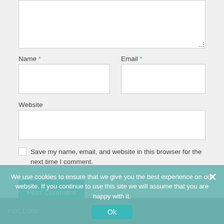Name *
Email *
Website
Save my name, email, and website in this browser for the next time I comment.
Post Comment
We use cookies to ensure that we give you the best experience on our website. If you continue to use this site we will assume that you are happy with it.
Ok
FOLLOW: